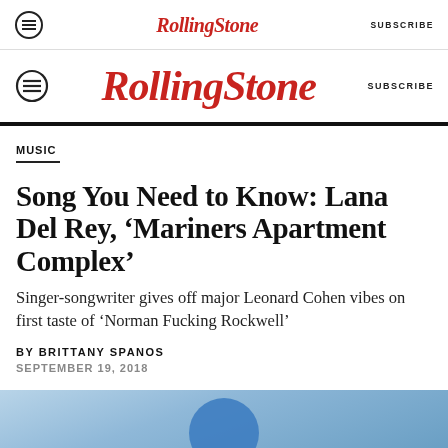Rolling Stone — SUBSCRIBE (top nav)
Rolling Stone — SUBSCRIBE (main nav)
MUSIC
Song You Need to Know: Lana Del Rey, ‘Mariners Apartment Complex’
Singer-songwriter gives off major Leonard Cohen vibes on first taste of ‘Norman Fucking Rockwell’
BY BRITTANY SPANOS
SEPTEMBER 19, 2018
[Figure (photo): Partial photo visible at bottom of page, showing blue tones]